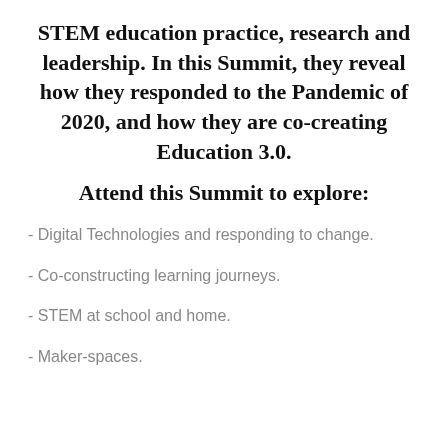STEM education practice, research and leadership. In this Summit, they reveal how they responded to the Pandemic of 2020, and how they are co-creating Education 3.0.
Attend this Summit to explore:
- Digital Technologies and responding to change.
- Co-constructing learning journeys.
- STEM at school and home.
- Maker-spaces.